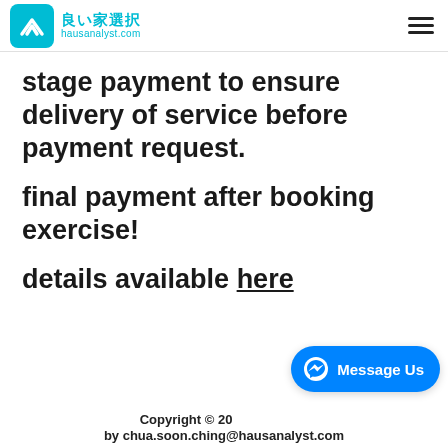良い家選択 hausanalyst.com
stage payment to ensure delivery of service before payment request.
final payment after booking exercise!
details available here
Copyright © 20  by chua.soon.ching@hausanalyst.com